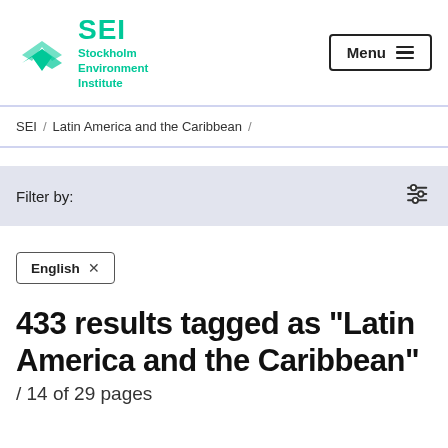SEI Stockholm Environment Institute  Menu
SEI / Latin America and the Caribbean /
Filter by:
English ×
433 results tagged as "Latin America and the Caribbean"
/ 14 of 29 pages